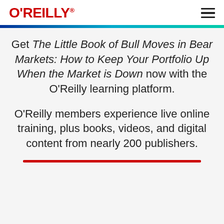O'REILLY®
Get The Little Book of Bull Moves in Bear Markets: How to Keep Your Portfolio Up When the Market is Down now with the O'Reilly learning platform.
O'Reilly members experience live online training, plus books, videos, and digital content from nearly 200 publishers.